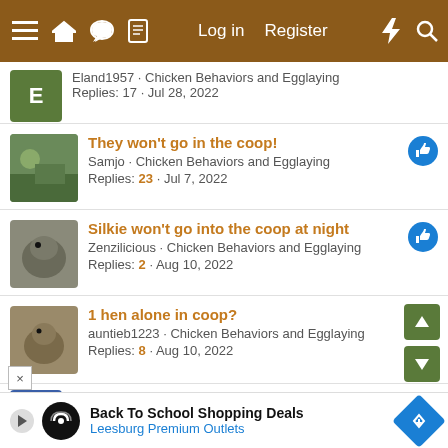Log in  Register
Eland1957 · Chicken Behaviors and Egglaying
Replies: 17 · Jul 28, 2022
They won't go in the coop!
Samjo · Chicken Behaviors and Egglaying
Replies: 23 · Jul 7, 2022
Silkie won't go into the coop at night
Zenzilicious · Chicken Behaviors and Egglaying
Replies: 2 · Aug 10, 2022
1 hen alone in coop?
auntieb1223 · Chicken Behaviors and Egglaying
Replies: 8 · Aug 10, 2022
Chickens roosting on coop- my specifics included
Jess718 · Chicken Behaviors and Egglaying
Back To School Shopping Deals
Leesburg Premium Outlets